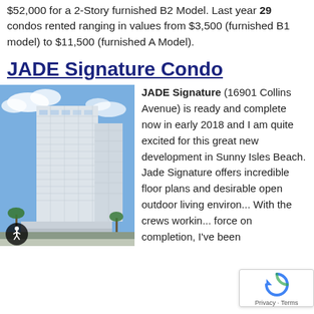$52,000 for a 2-Story furnished B2 Model. Last year 29 condos rented ranging in values from $3,500 (furnished B1 model) to $11,500 (furnished A Model).
JADE Signature Condo
[Figure (photo): Exterior photo of JADE Signature tower at 16901 Collins Avenue, Sunny Isles Beach — a tall modern glass and white concrete high-rise building against a blue sky with palm trees at the base.]
JADE Signature (16901 Collins Avenue) is ready and complete now in early 2018 and I am quite excited for this great new development in Sunny Isles Beach. Jade Signature offers incredible floor plans and desirable open outdoor living environ... With the crews workin... force on completion, I've been